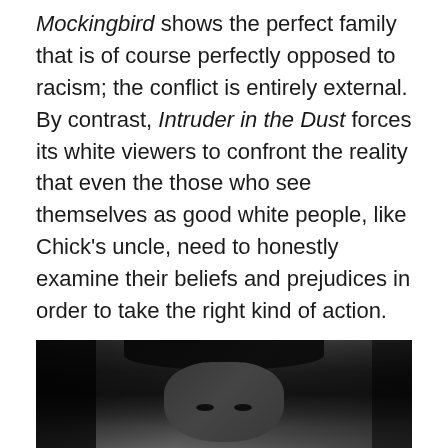Mockingbird shows the perfect family that is of course perfectly opposed to racism; the conflict is entirely external. By contrast, Intruder in the Dust forces its white viewers to confront the reality that even the those who see themselves as good white people, like Chick's uncle, need to honestly examine their beliefs and prejudices in order to take the right kind of action.

On paper, it's a film centered on Chick. But Juano Hernandez as Lucas Beauchamp dominates this film. A cutting glance from him is an indictment so powerful that I can't believe it made it to screens in 1949.

Where can you see it? It's on DVD from Warner Archive.
[Figure (photo): Black and white still image showing a man wearing a hat, close-up face shot with dramatic lighting]